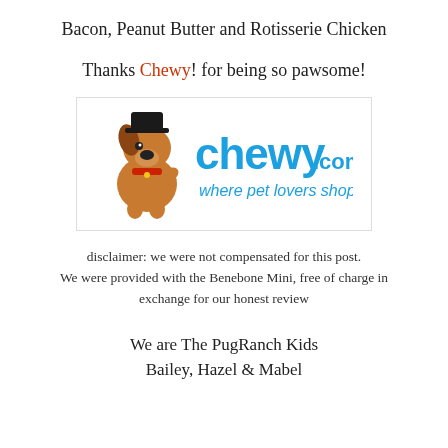Bacon, Peanut Butter and Rotisserie Chicken
Thanks Chewy! for being so pawsome!
[Figure (logo): Chewy.com logo with cartoon dog mascot and tagline 'where pet lovers shop']
disclaimer: we were not compensated for this post. We were provided with the Benebone Mini, free of charge in exchange for our honest review
We are The PugRanch Kids
Bailey, Hazel & Mabel